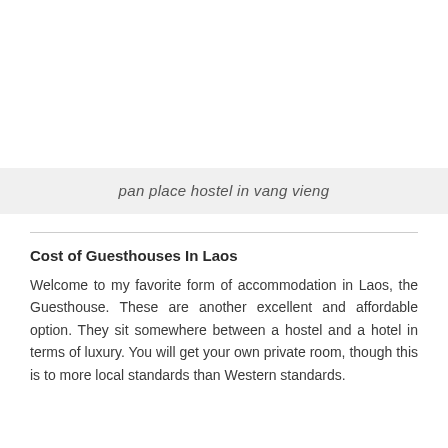pan place hostel in vang vieng
Cost of Guesthouses In Laos
Welcome to my favorite form of accommodation in Laos, the Guesthouse. These are another excellent and affordable option. They sit somewhere between a hostel and a hotel in terms of luxury. You will get your own private room, though this is to more local standards than Western standards.